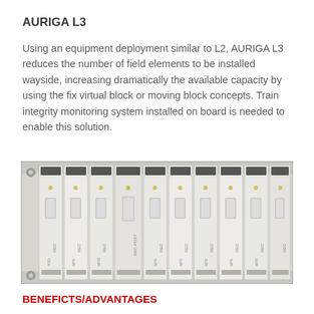AURIGA L3
Using an equipment deployment similar to L2, AURIGA L3 reduces the number of field elements to be installed wayside, increasing dramatically the available capacity by using the fix virtual block or moving block concepts. Train integrity monitoring system installed on board is needed to enable this solution.
[Figure (photo): Photo of an electronic equipment rack or chassis with multiple white card modules/boards installed side by side, each labeled with text such as REC, PRO, MPS, MPIR. Small indicator lights and connectors are visible on each card.]
BENEFICTS/ADVANTAGES